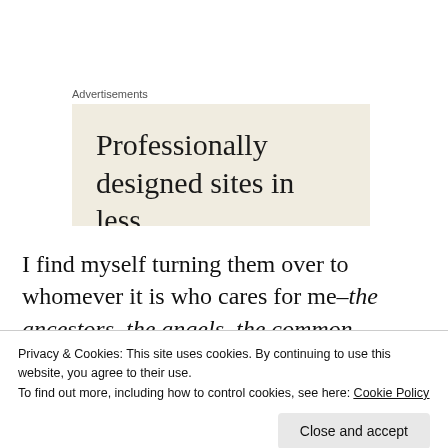Advertisements
[Figure (other): Advertisement banner with beige/cream background showing text: 'Professionally designed sites in less']
I find myself turning them over to whomever it is who cares for me–the ancestors, the angels, the common consciousness.
Instead of finding fault with myself for either
Privacy & Cookies: This site uses cookies. By continuing to use this website, you agree to their use.
To find out more, including how to control cookies, see here: Cookie Policy
Close and accept
These dreams have